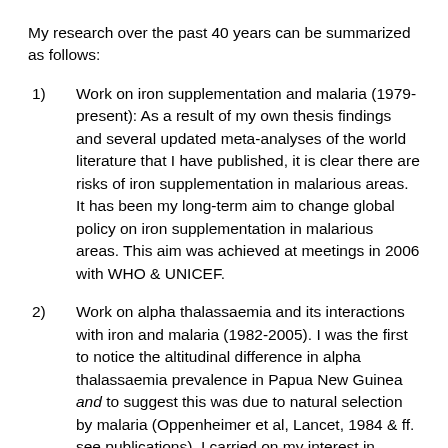My research over the past 40 years can be summarized as follows:
1)   Work on iron supplementation and malaria (1979-present): As a result of my own thesis findings and several updated meta-analyses of the world literature that I have published, it is clear there are risks of iron supplementation in malarious areas. It has been my long-term aim to change global policy on iron supplementation in malarious areas. This aim was achieved at meetings in 2006 with WHO & UNICEF.
2)   Work on alpha thalassaemia and its interactions with iron and malaria (1982-2005). I was the first to notice the altitudinal difference in alpha thalassaemia prevalence in Papua New Guinea and to suggest this was due to natural selection by malaria (Oppenheimer et al, Lancet, 1984 & ff. see publications). I carried on my interest in thalassaemia in Hong Kong with a PhD student and other collaborators in my department, setting up a project to look at non-immunological mechanisms of protection. This involved